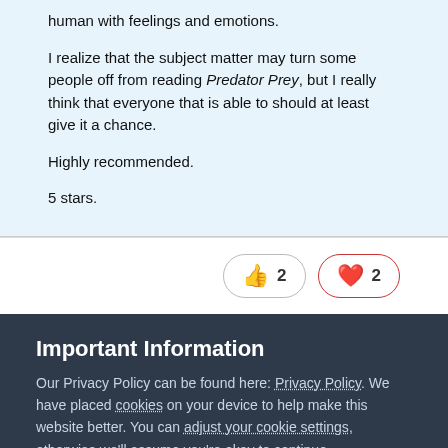human with feelings and emotions.
I realize that the subject matter may turn some people off from reading Predator Prey, but I really think that everyone that is able to should at least give it a chance.
Highly recommended.
5 stars.
[Figure (infographic): Two reaction buttons: a thumbs-up emoji with count 2, and a heart emoji with count 2]
Important Information
Our Privacy Policy can be found here: Privacy Policy. We have placed cookies on your device to help make this website better. You can adjust your cookie settings, otherwise we'll assume you're okay to continue..
✓  I accept